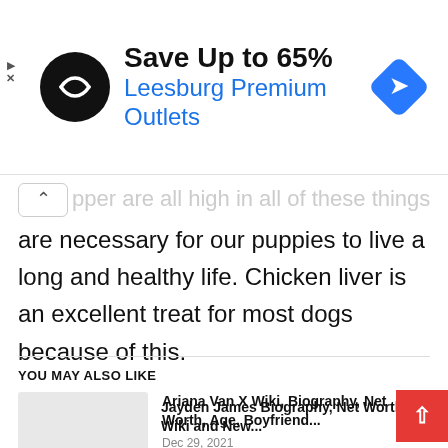[Figure (other): Advertisement banner: circular black logo with double arrow symbol, text 'Save Up to 65%' in bold black and 'Leesburg Premium Outlets' in blue, blue diamond navigation icon on right. Small play and X icons on far left.]
pper are all high in all of these things are necessary for our puppies to live a long and healthy life. Chicken liver is an excellent treat for most dogs because of this.
YOU MAY ALSO LIKE
[Figure (photo): Gray placeholder thumbnail image for article 1]
Ariana Van X Wiki, Biography, Net Worth, Age, Boyfriend...
Dec 29, 2021
[Figure (photo): Gray placeholder thumbnail image for article 2]
Jayden James Biography, Net Worth, Wiki and New...